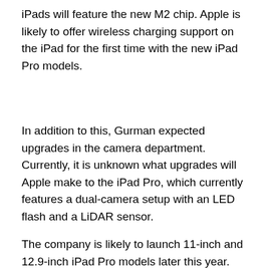iPads will feature the new M2 chip. Apple is likely to offer wireless charging support on the iPad for the first time with the new iPad Pro models.
In addition to this, Gurman expected upgrades in the camera department. Currently, it is unknown what upgrades will Apple make to the iPad Pro, which currently features a dual-camera setup with an LED flash and a LiDAR sensor.
The company is likely to launch 11-inch and 12.9-inch iPad Pro models later this year. Recently, DSCC's Ross Young claimed that Apple is working on a 14.1-inch